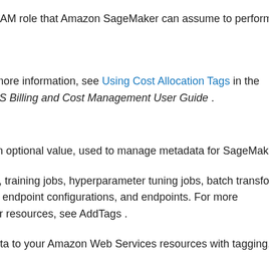an IAM role that Amazon SageMaker can assume to perform
or more information, see Using Cost Allocation Tags in the AWS Billing and Cost Management User Guide .
d an optional value, used to manage metadata for SageMaker
ces, training jobs, hyperparameter tuning jobs, batch transform jobs, endpoint configurations, and endpoints. For more SageMaker resources, see AddTags .
adata to your Amazon Web Services resources with tagging, see Tagging Amazon Web Services Resources . For advice on best practices for managing Amazon Web